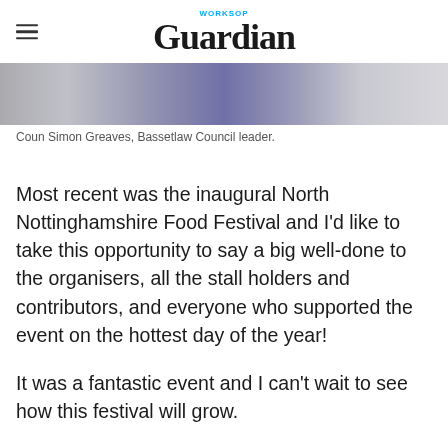WORKSOP Guardian
[Figure (photo): Cropped photo of Coun Simon Greaves, Bassetlaw Council leader, wearing a dark suit and purple tie, visible from chest up.]
Coun Simon Greaves, Bassetlaw Council leader.
Most recent was the inaugural North Nottinghamshire Food Festival and I'd like to take this opportunity to say a big well-done to the organisers, all the stall holders and contributors, and everyone who supported the event on the hottest day of the year!
It was a fantastic event and I can't wait to see how this festival will grow.